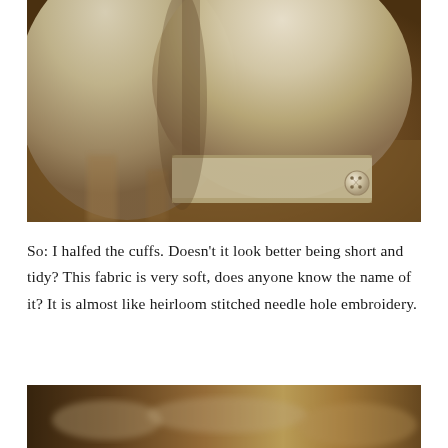[Figure (photo): Close-up photograph of fabric cuffs, cream/off-white linen-like material with a button visible on the cuff, warm brown wooden background]
So: I halfed the cuffs. Doesn't it look better being short and tidy? This fabric is very soft, does anyone know the name of it? It is almost like heirloom stitched needle hole embroidery.
[Figure (photo): Partial photograph at bottom of page showing blurred items on a surface, warm tones of orange and brown]